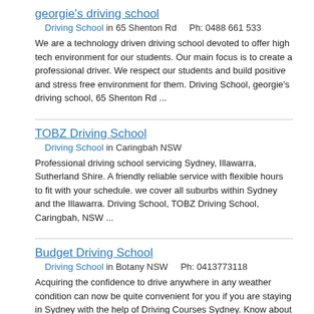georgie's driving school
Driving School in 65 Shenton Rd    Ph: 0488 661 533
We are a technology driven driving school devoted to offer high tech environment for our students. Our main focus is to create a professional driver. We respect our students and build positive and stress free environment for them. Driving School, georgie's driving school, 65 Shenton Rd ...
TOBZ Driving School
Driving School in Caringbah NSW
Professional driving school servicing Sydney, Illawarra, Sutherland Shire. A friendly reliable service with flexible hours to fit with your schedule. we cover all suburbs within Sydney and the Illawarra. Driving School, TOBZ Driving School, Caringbah, NSW ...
Budget Driving School
Driving School in Botany NSW    Ph: 0413773118
Acquiring the confidence to drive anywhere in any weather condition can now be quite convenient for you if you are staying in Sydney with the help of Driving Courses Sydney. Know about the Cheap Driving School Sydney. Contact Information: Abdul Hannan Budget Driving School 1154 Botany Road ...
Darshan Driving school